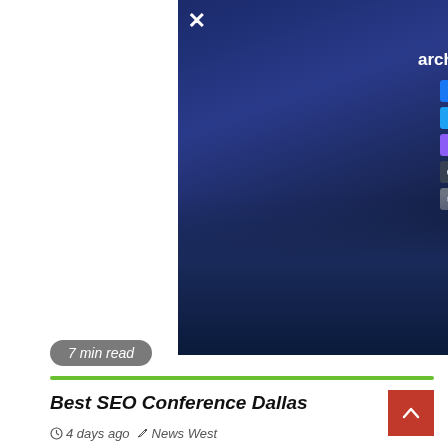[Figure (screenshot): Mirrored/flipped screenshot of a search marketing conference page (munich 2021) with social share icons on a dark blue background, showing an 'X' close button in top right]
7 min read
Best SEO Conference Dallas
4 days ago  News West
[Figure (photo): Two men working at computers in an office setting. Left panel shows a monitor with dark UI and a plant. Right panel shows a bearded man with glasses in profile. A red LOCAL badge is overlaid on the left panel. A red scroll-to-top arrow button appears bottom right.]